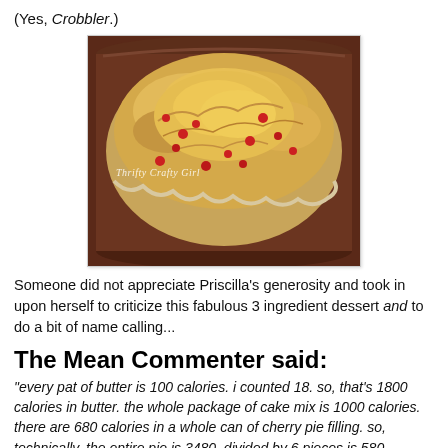(Yes, Crobbler.)
[Figure (photo): A baked cobbler/crumble with golden-brown topping and red cherry filling visible, in a dark pie dish. Watermark text reads 'Thrifty Crafty Girl'.]
Someone did not appreciate Priscilla's generosity and took in upon herself to criticize this fabulous 3 ingredient dessert and to do a bit of name calling...
The Mean Commenter said:
"every pat of butter is 100 calories. i counted 18. so, that's 1800 calories in butter. the whole package of cake mix is 1000 calories. there are 680 calories in a whole can of cherry pie filling. so, technically, the entire pie is 3480. divided by 6 pieces is 580 calories a slice. that's if you really